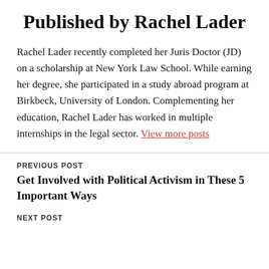Published by Rachel Lader
Rachel Lader recently completed her Juris Doctor (JD) on a scholarship at New York Law School. While earning her degree, she participated in a study abroad program at Birkbeck, University of London. Complementing her education, Rachel Lader has worked in multiple internships in the legal sector. View more posts
PREVIOUS POST
Get Involved with Political Activism in These 5 Important Ways
NEXT POST